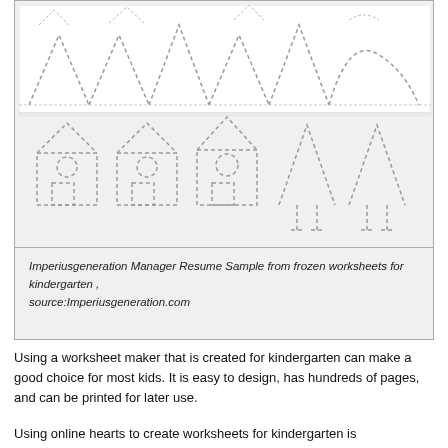[Figure (illustration): A kindergarten tracing worksheet showing dotted-line shapes: top row has mountain/triangle zigzag patterns and a wavy line; bottom row has five house shapes made of triangles with circles (windows), rectangles (doors), and two tree-like shapes, all in dashed outlines for tracing practice.]
Imperiusgeneration Manager Resume Sample from frozen worksheets for kindergarten , source:Imperiusgeneration.com
Using a worksheet maker that is created for kindergarten can make a good choice for most kids. It is easy to design, has hundreds of pages, and can be printed for later use.
Using online hearts to create worksheets for kindergarten is